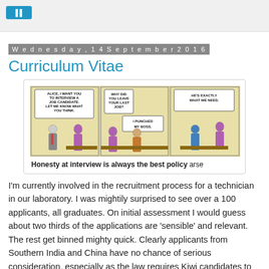[Figure (illustration): Dilbert comic strip with three panels. Panel 1: Boss says 'Alice, I want you to interview a job candidate. Let me know what you think.' Panel 2: Interviewer asks 'Why did you leave your last job?' Candidate replies 'I punched my boss.' Panel 3: Boss says 'He's exactly what we need.']
Honesty at interview is always the best policy arse
I'm currently involved in the recruitment process for a technician in our laboratory. I was mightily surprised to see over a 100 applicants, all graduates. On initial assessment I would guess about two thirds of the applications are 'sensible' and relevant. The rest get binned mighty quick. Clearly applicants from Southern India and China have no chance of serious consideration, especially as the law requires Kiwi candidates to receive preferential treatment.
As for the rest.....Generally we'll interview about eight